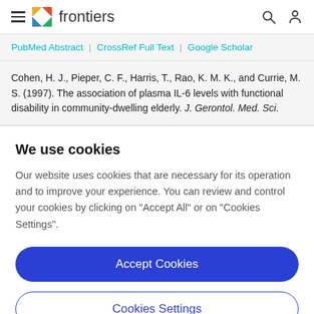frontiers
PubMed Abstract | CrossRef Full Text | Google Scholar
Cohen, H. J., Pieper, C. F., Harris, T., Rao, K. M. K., and Currie, M. S. (1997). The association of plasma IL-6 levels with functional disability in community-dwelling elderly. J. Gerontol. Med. Sci.
We use cookies
Our website uses cookies that are necessary for its operation and to improve your experience. You can review and control your cookies by clicking on "Accept All" or on "Cookies Settings".
Accept Cookies
Cookies Settings